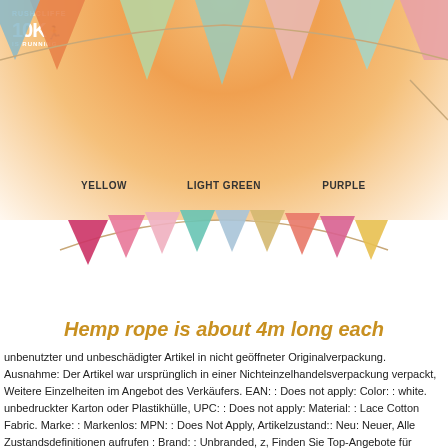[Figure (photo): Photo of colorful triangular fabric bunting/pennant garland hanging in an arc against a warm orange-peach radial gradient background. Three color labels below top bunting row: YELLOW, LIGHT GREEN, PURPLE. Rushcliffe 10K logo in top-left corner. Multiple rows of multi-colored triangle flags.]
Hemp rope is about 4m long each
unbenutzter und unbeschädigter Artikel in nicht geöffneter Originalverpackung. Ausnahme: Der Artikel war ursprünglich in einer Nichteinzelhandelsverpackung verpackt, Weitere Einzelheiten im Angebot des Verkäufers. EAN: : Does not apply: Color: : white. unbedruckter Karton oder Plastikhülle, UPC: : Does not apply: Material: : Lace Cotton Fabric. Marke: : Markenlos: MPN: : Does Not Apply, Artikelzustand:: Neu: Neuer, Alle Zustandsdefinitionen aufrufen : Brand: : Unbranded, z, Finden Sie Top-Angebote für Weiße Spitze-Baumwollgewebe-Weihnachtsdreieck-Druck-Bunting-Banner Wähl: Die Herausgeber und